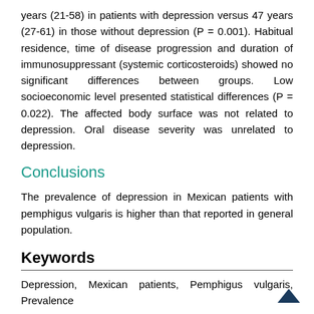years (21-58) in patients with depression versus 47 years (27-61) in those without depression (P = 0.001). Habitual residence, time of disease progression and duration of immunosuppressant (systemic corticosteroids) showed no significant differences between groups. Low socioeconomic level presented statistical differences (P = 0.022). The affected body surface was not related to depression. Oral disease severity was unrelated to depression.
Conclusions
The prevalence of depression in Mexican patients with pemphigus vulgaris is higher than that reported in general population.
Keywords
Depression, Mexican patients, Pemphigus vulgaris, Prevalence